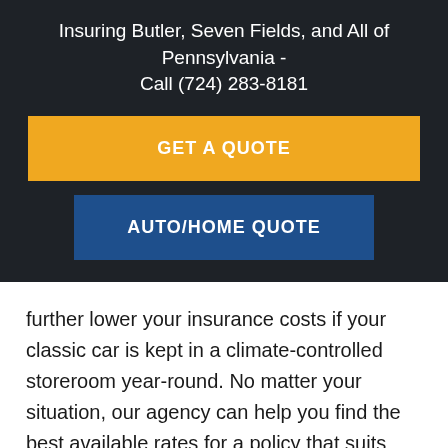Insuring Butler, Seven Fields, and All of Pennsylvania - Call (724) 283-8181
GET A QUOTE
AUTO/HOME QUOTE
further lower your insurance costs if your classic car is kept in a climate-controlled storeroom year-round. No matter your situation, our agency can help you find the best available rates for a policy that suits your needs.